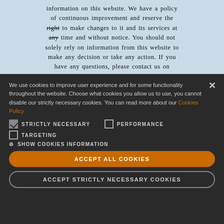information on this website. We have a policy of continuous improvement and reserve the right to make changes to it and its services at any time and without notice. You should not solely rely on information from this website to make any decision or take any action. If you have any questions, please contact us on info@captaincorellismandolin.com.
We use cookies to improve user experience and for some functionality throughout the website. Choose what cookies you allow us to use, you cannot disable our strictly necessary cookies. You can read more about our Cookies Policy
STRICTLY NECESSARY (checked)
PERFORMANCE (unchecked)
TARGETING (unchecked)
SHOW COOKIES INFORMATION
ACCEPT ALL COOKIES
ACCEPT STRICTLY NECESSARY COOKIES